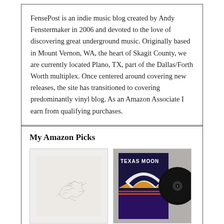FensePost is an indie music blog created by Andy Fenstermaker in 2006 and devoted to the love of discovering great underground music. Originally based in Mount Vernon, WA, the heart of Skagit County, we are currently located Plano, TX, part of the Dallas/Forth Worth multiplex. Once centered around covering new releases, the site has transitioned to covering predominantly vinyl blog. As an Amazon Associate I earn from qualifying purchases.
My Amazon Picks
[Figure (photo): Album art with light background showing a pencil sketch illustration]
[Figure (photo): Texas Moon album cover showing a vinyl record against a gray background with colorful geometric design]